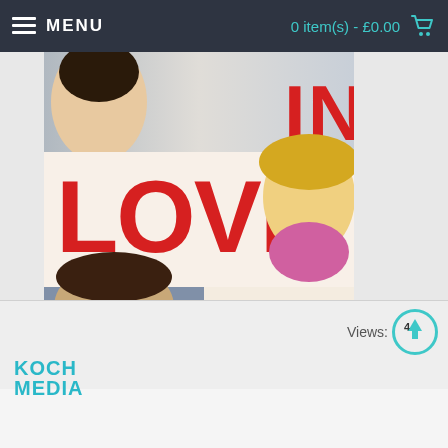MENU   0 item(s) - £0.00
[Figure (photo): DVD cover for a film featuring 'LOVE' text in red, 'IN' above it, 'A STORY OF FIRST LOVES AND SECOND CHANCES' text, cast names: Lily Collins, Greg Kinnear, Jennifer Connelly, Logan Lerman, Nat Wolff, Kristen Bell. Two age rating 15 badges visible.]
Free UK Delivery
Views: 4
[Figure (logo): Koch Media logo in teal/cyan color, two lines: KOCH MEDIA]